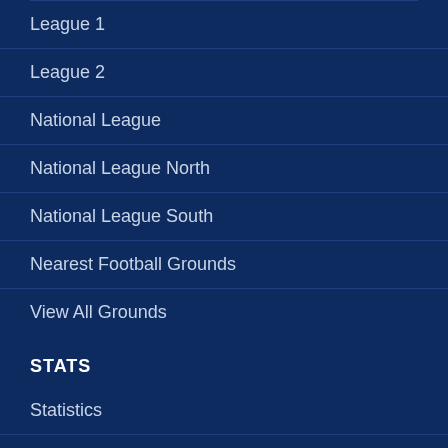League 1
League 2
National League
National League North
National League South
Nearest Football Grounds
View All Grounds
STATS
Statistics
Most Visited Grounds
Best Supported Teams